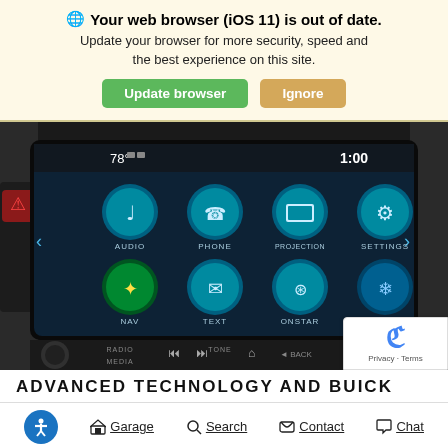🌐 Your web browser (iOS 11) is out of date. Update your browser for more security, speed and the best experience on this site.
Update browser | Ignore
[Figure (photo): Car infotainment touchscreen showing icons for AUDIO, PHONE, PROJECTION, SETTINGS, NAV, TEXT, ONSTAR, CLIMATE. Display shows 78° and 1:00. Below screen are controls for RADIO, MEDIA, TONE, BACK, MENU.]
ADVANCED TECHNOLOGY AND BUICK
Garage  Search  Contact  Chat (bottom navigation bar with icons)